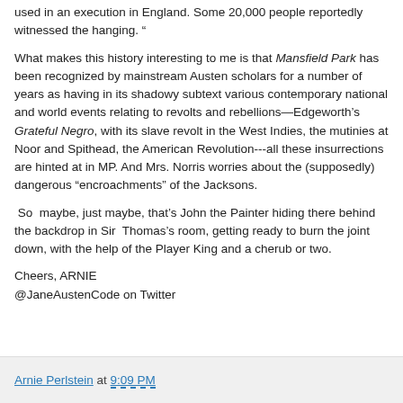used in an execution in England. Some 20,000 people reportedly witnessed the hanging. “
What makes this history interesting to me is that Mansfield Park has been recognized by mainstream Austen scholars for a number of years as having in its shadowy subtext various contemporary national and world events relating to revolts and rebellions—Edgeworth’s Grateful Negro, with its slave revolt in the West Indies, the mutinies at Noor and Spithead, the American Revolution---all these insurrections are hinted at in MP. And Mrs. Norris worries about the (supposedly) dangerous “encroachments” of the Jacksons.
So maybe, just maybe, that’s John the Painter hiding there behind the backdrop in Sir Thomas’s room, getting ready to burn the joint down, with the help of the Player King and a cherub or two.
Cheers, ARNIE
@JaneAustenCode on Twitter
Arnie Perlstein at 9:09 PM